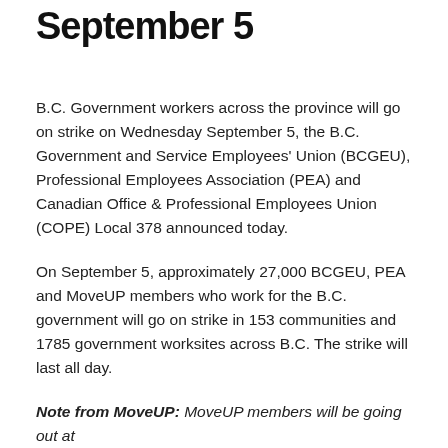September 5
B.C. Government workers across the province will go on strike on Wednesday September 5, the B.C. Government and Service Employees' Union (BCGEU), Professional Employees Association (PEA) and Canadian Office & Professional Employees Union (COPE) Local 378 announced today.
On September 5, approximately 27,000 BCGEU, PEA and MoveUP members who work for the B.C. government will go on strike in 153 communities and 1785 government worksites across B.C. The strike will last all day.
Note from MoveUP: MoveUP members will be going out at